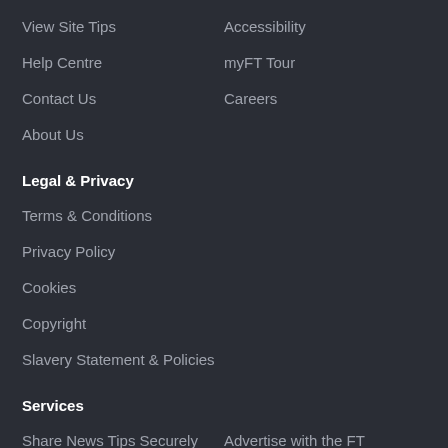View Site Tips
Accessibility
Help Centre
myFT Tour
Contact Us
Careers
About Us
Legal & Privacy
Terms & Conditions
Privacy Policy
Cookies
Copyright
Slavery Statement & Policies
Services
Share News Tips Securely
Advertise with the FT